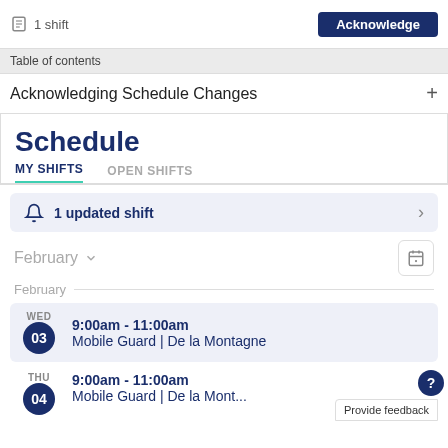[Figure (screenshot): Top bar showing '1 shift' with document icon and 'Acknowledge' button in dark navy blue]
Table of contents
Acknowledging Schedule Changes  +
Schedule
MY SHIFTS   OPEN SHIFTS
1 updated shift
February
February
WED 03  9:00am - 11:00am  Mobile Guard | De la Montagne
THU 04  9:00am - 11:00am  Mobile Guard | De la Mont...
Provide feedback